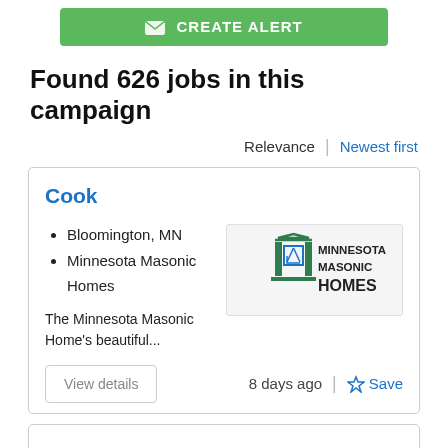[Figure (screenshot): Green 'Create Alert' button bar with envelope icon]
Found 626 jobs in this campaign
Relevance | Newest first
Cook
Bloomington, MN
Minnesota Masonic Homes
[Figure (logo): Minnesota Masonic Homes logo - building icon with square and compass symbol, green and black text]
The Minnesota Masonic Home's beautiful...
View details
8 days ago | ☆ Save